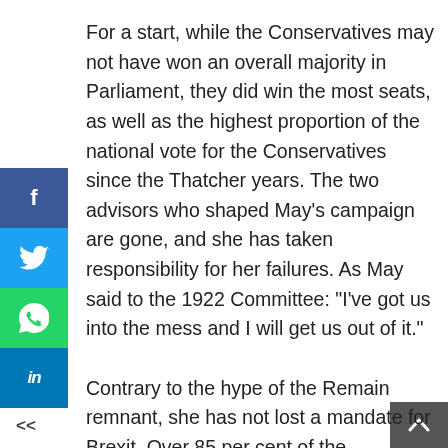For a start, while the Conservatives may not have won an overall majority in Parliament, they did win the most seats, as well as the highest proportion of the national vote for the Conservatives since the Thatcher years. The two advisors who shaped May's campaign are gone, and she has taken responsibility for her failures. As May said to the 1922 Committee: "I've got us into the mess and I will get us out of it."

Contrary to the hype of the Remain remnant, she has not lost a mandate for Brexit. Over 85 per cent of the electorate voted for pro-Brexit parties running on manifestos committed to leaving the Single Market, electing almost 600 MPs from said parties. The Eurosceptic wing of the